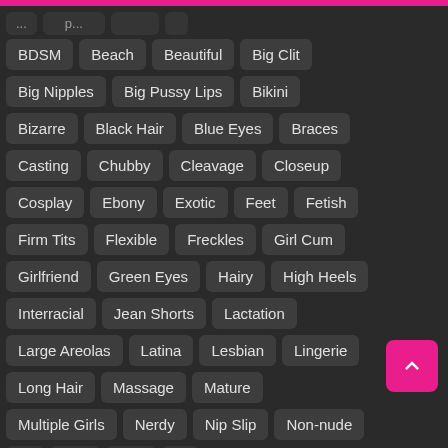BDSM
Beach
Beautiful
Big Clit
Big Nipples
Big Pussy Lips
Bikini
Bizarre
Black Hair
Blue Eyes
Braces
Casting
Chubby
Cleavage
Closeup
Cosplay
Ebony
Exotic
Feet
Fetish
Firm Tits
Flexible
Freckles
Girl Cum
Girlfriend
Green Eyes
Hairy
High Heels
Interracial
Jean Shorts
Lactation
Large Areolas
Latina
Lesbian
Lingerie
Long Hair
Massage
Mature
Multiple Girls
Nerdy
Nip Slip
Non-nude